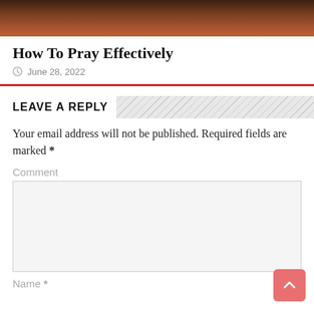[Figure (photo): Partial image of a warm-toned scene (orange/brown tones), cropped at top of page]
How To Pray Effectively
June 28, 2022
LEAVE A REPLY
Your email address will not be published. Required fields are marked *
Comment
Name *